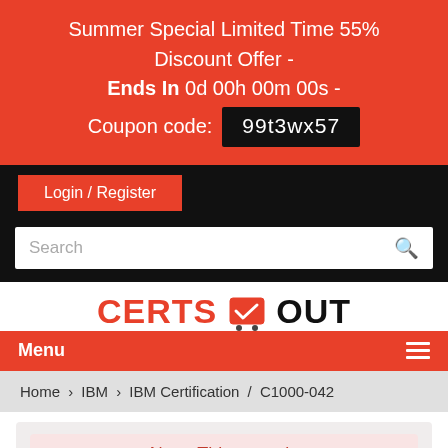Summer Special Limited Time 55% Discount Offer - Ends In 0d 00h 00m 00s - Coupon code: 99t3wx57
Login / Register
Search
[Figure (logo): CertsOut logo with red and black text and checkmark icon]
Menu
Home / IBM / IBM Certification / C1000-042
Note: This exam is available on Demand